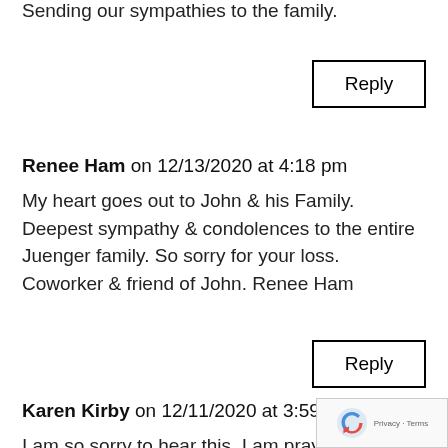Sending our sympathies to the family.
Reply
Renee Ham on 12/13/2020 at 4:18 pm
My heart goes out to John & his Family. Deepest sympathy & condolences to the entire Juenger family. So sorry for your loss. Coworker & friend of John. Renee Ham
Reply
Karen Kirby on 12/11/2020 at 3:59 pm
I am so sorry to hear this. I am praying